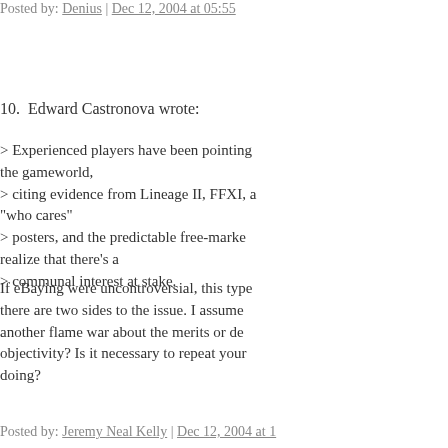Posted by: Denius | Dec 12, 2004 at 05:55
10.  Edward Castronova wrote:
> Experienced players have been pointing the gameworld,
> citing evidence from Lineage II, FFXI, a "who cares"
> posters, and the predictable free-marke realize that there's a
> communal interest at stake.
If eBaying were uncontroversial, this type there are two sides to the issue. I assume another flame war about the merits or de objectivity? Is it necessary to repeat your doing?
Posted by: Jeremy Neal Kelly | Dec 12, 2004 at 1
11.  To get around credit card bannings s should be doing already).
I know that in IGE's Terms and Conditions
"No Sony employees are permitted to pur method. Buyer wholly assumes all risks a indemnify the Company for any claims m